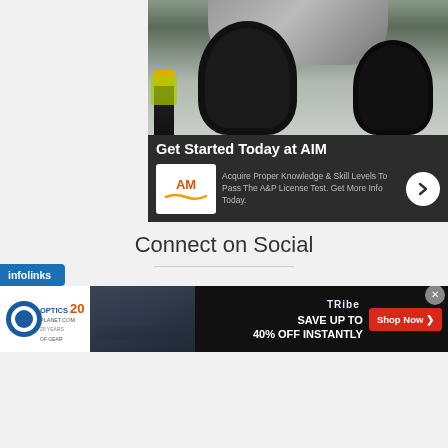[Figure (photo): AIM aviation school advertisement showing aircraft landing gear from below with a worker nearby, dark background with headline and logo]
Connect on Social
[Figure (infographic): Social media icons: Facebook (blue), Twitter (blue), Instagram (purple-blue rounded square icons)]
[Figure (other): Infolinks banner overlay and OpticsPlanet / Tribe bottom banner advertisement: Save up to 40% off instantly, Shop Now button]